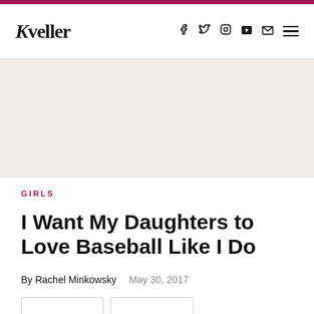Kveller — navigation header with social icons (f, twitter, instagram, youtube, mail, menu)
[Figure (other): Advertisement banner area with light beige background]
GIRLS
I Want My Daughters to Love Baseball Like I Do
By Rachel Minkowsky   May 30, 2017